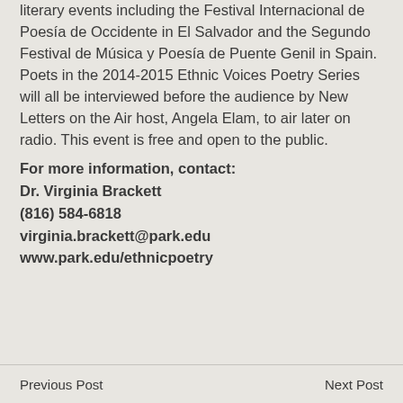literary events including the Festival Internacional de Poesía de Occidente in El Salvador and the Segundo Festival de Música y Poesía de Puente Genil in Spain. Poets in the 2014-2015 Ethnic Voices Poetry Series will all be interviewed before the audience by New Letters on the Air host, Angela Elam, to air later on radio. This event is free and open to the public.
For more information, contact:
Dr. Virginia Brackett
(816) 584-6818
virginia.brackett@park.edu
www.park.edu/ethnicpoetry
Previous Post   Next Post